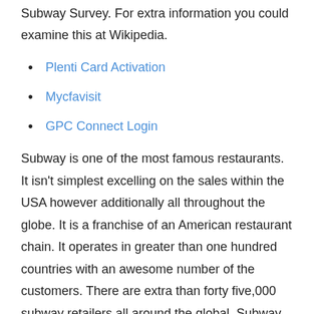Subway Survey. For extra information you could examine this at Wikipedia.
Plenti Card Activation
Mycfavisit
GPC Connect Login
Subway is one of the most famous restaurants. It isn't simplest excelling on the sales within the USA however additionally all throughout the globe. It is a franchise of an American restaurant chain. It operates in greater than one hundred countries with an awesome number of the customers. There are extra than forty five,000 subway retailers all around the global. Subway is loved like anything within the World.